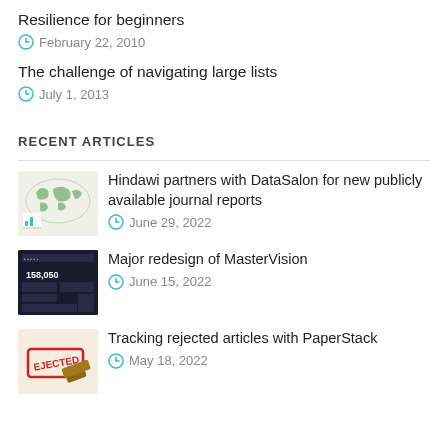Resilience for beginners
February 22, 2010
The challenge of navigating large lists
July 1, 2013
RECENT ARTICLES
Hindawi partners with DataSalon for new publicly available journal reports
June 29, 2022
Major redesign of MasterVision
June 15, 2022
Tracking rejected articles with PaperStack
May 18, 2022